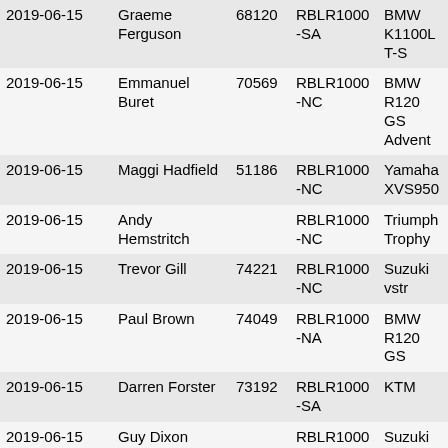| Date | Name | Number | Code | Bike |
| --- | --- | --- | --- | --- |
| 2019-06-15 | Graeme Ferguson | 68120 | RBLR1000-SA | BMW K1100LT-S |
| 2019-06-15 | Emmanuel Buret | 70569 | RBLR1000-NC | BMW R1200 GS Adventure |
| 2019-06-15 | Maggi Hadfield | 51186 | RBLR1000-NC | Yamaha XVS950 |
| 2019-06-15 | Andy Hemstritch |  | RBLR1000-NC | Triumph Trophy |
| 2019-06-15 | Trevor Gill | 74221 | RBLR1000-NC | Suzuki vstrom |
| 2019-06-15 | Paul Brown | 74049 | RBLR1000-NA | BMW R1200 GS |
| 2019-06-15 | Darren Forster | 73192 | RBLR1000-SA | KTM |
| 2019-06-15 | Guy Dixon |  | RBLR1000-NC | Suzuki GSXR1000 |
| 2019-06-15 | Liam Campbell | 74232 | RBLR1000-NC | Honda CB500X |
| 2019-06-15 | Paul Lowther | 70604 | RBLR1000-NC | Suzuki DL650 V-Strom |
| 2019-06-15 | Ewan Hall | 40049 | RBLR1000-NC | Honda XRV750 Africa Twin |